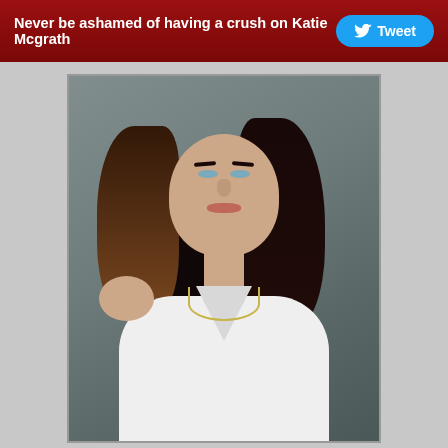Never be ashamed of having a crush on Katie Mcgrath  Tweet
[Figure (photo): Portrait photo of Katie McGrath, a young woman with long dark brown/black hair, blue-grey eyes, wearing a white tank top and necklace, photographed against a grey studio background.]